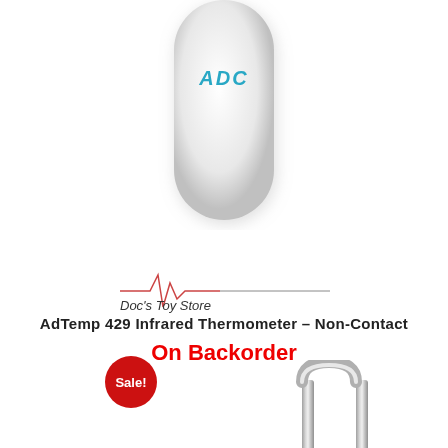[Figure (photo): White ADC infrared thermometer device, oval/elongated shape with teal ADC logo, shown from top, cropped at bottom]
[Figure (logo): Doc's Toy Store logo: heartbeat/ECG line with text 'Doc's Toy Store']
AdTemp 429 Infrared Thermometer – Non-Contact
On Backorder
Sale!
[Figure (photo): Metal tongs or staple-shaped medical instrument, silver/chrome color, U-shaped, partial view]